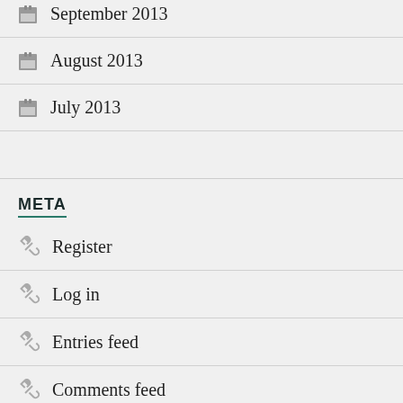September 2013
August 2013
July 2013
META
Register
Log in
Entries feed
Comments feed
WordPress.com